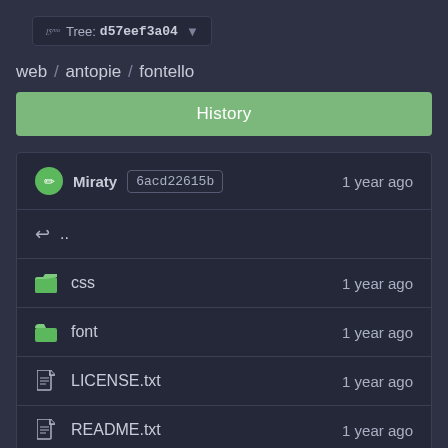Tree: d57eef3a04
web / antopie / fontello
History
| Name | Time |
| --- | --- |
| .. |  |
| css | 1 year ago |
| font | 1 year ago |
| LICENSE.txt | 1 year ago |
| README.txt | 1 year ago |
| config.json | 1 year ago |